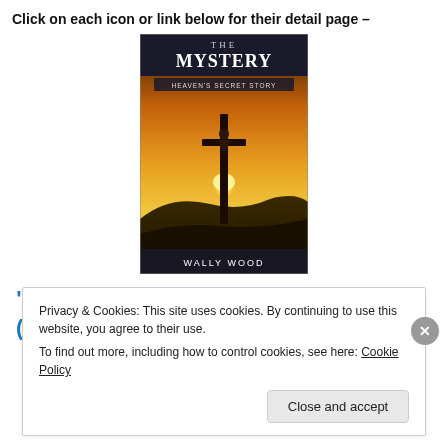Click on each icon or link below for their detail page –
[Figure (photo): Book cover of 'The Mystery: Heaven's Secret Story' by Wally Wood, showing a cross silhouette against a sunset sky.]
“The Mystery: Heaven’s Secret Story” (2012)
Privacy & Cookies: This site uses cookies. By continuing to use this website, you agree to their use. To find out more, including how to control cookies, see here: Cookie Policy